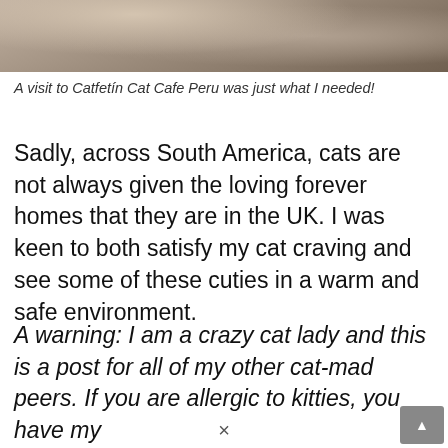[Figure (photo): Top portion of a cat's head with fur, partially cropped at top of page]
A visit to Catfetín Cat Cafe Peru was just what I needed!
Sadly, across South America, cats are not always given the loving forever homes that they are in the UK. I was keen to both satisfy my cat craving and see some of these cuties in a warm and safe environment.
A warning: I am a crazy cat lady and this is a post for all of my other cat-mad peers. If you are allergic to kitties, you have my